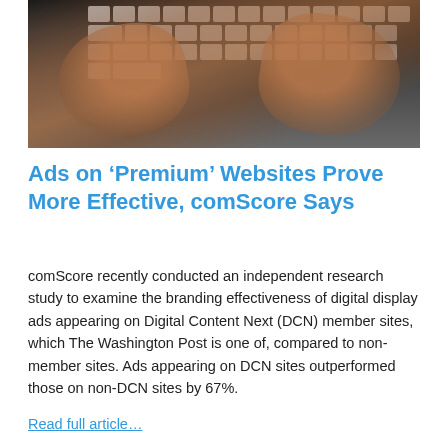[Figure (photo): Overhead view of two hands typing on a laptop keyboard against a dark background]
Ads on ‘Premium’ Websites Prove More Effective, comScore Says
comScore recently conducted an independent research study to examine the branding effectiveness of digital display ads appearing on Digital Content Next (DCN) member sites, which The Washington Post is one of, compared to non-member sites. Ads appearing on DCN sites outperformed those on non-DCN sites by 67%.
Read full article…